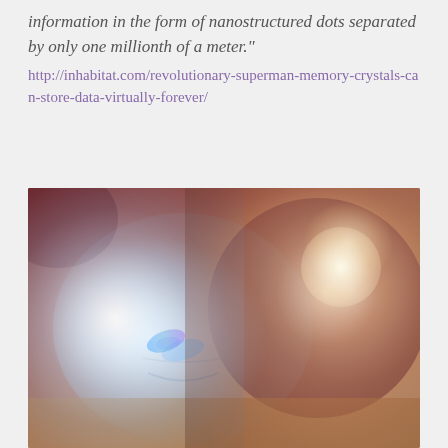information in the form of nanostructured dots separated by only one millionth of a meter."
http://inhabitat.com/revolutionary-superman-memory-crystals-can-store-data-virtually-forever/
[Figure (photo): Two crystal skulls side by side — a clear/white translucent crystal skull on the left showing blue light refractions, and a smoky reddish-brown crystal sphere/skull on the right with a bright highlight, set against a warm blurred background.]